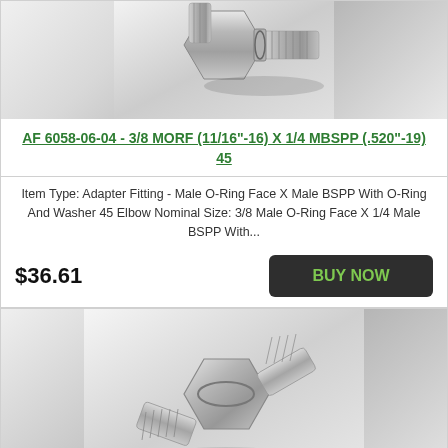[Figure (photo): Photo of a chrome/silver metal adapter fitting (45 degree elbow) with threaded ends, shown on white background - top portion only visible]
AF 6058-06-04 - 3/8 MORF (11/16"-16) X 1/4 MBSPP (.520"-19) 45
Item Type: Adapter Fitting - Male O-Ring Face X Male BSPP With O-Ring And Washer 45 Elbow Nominal Size: 3/8 Male O-Ring Face X 1/4 Male BSPP With...
$36.61
BUY NOW
[Figure (photo): Photo of a chrome/silver metal 45-degree elbow adapter fitting with hex body and threaded ends, shown on white/light background - bottom portion of page]